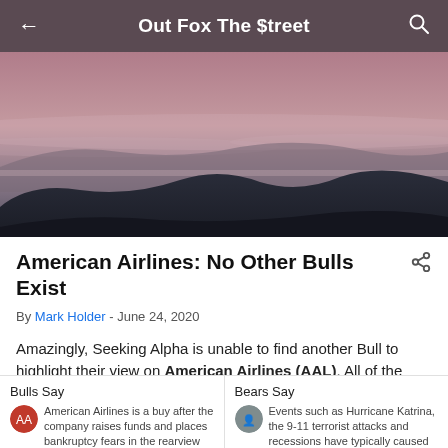Out Fox The $treet
[Figure (photo): Aerial/landscape photo of mountains and hazy sky at dusk with pinkish-purple tones]
American Airlines: No Other Bulls Exist
By Mark Holder - June 24, 2020
Amazingly, Seeking Alpha is unable to find another Bull to highlight their view on American Airlines (AAL). All of the other contributors on the financial site pretty much think the airline is going bankrupt.
Bulls Say
American Airlines is a buy after the company raises funds and places bankruptcy fears in the rearview
Bears Say
Events such as Hurricane Katrina, the 9-11 terrorist attacks and recessions have typically caused